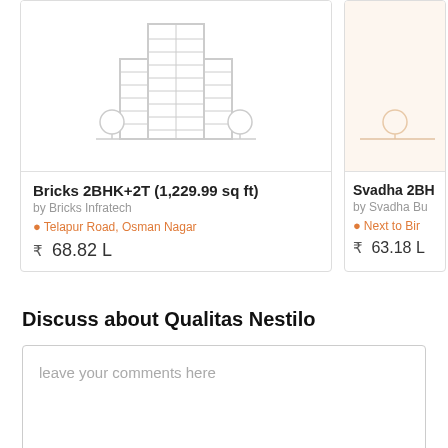[Figure (illustration): Building/property placeholder illustration with two trees and a tall building outline]
Bricks 2BHK+2T (1,229.99 sq ft)
by Bricks Infratech
Telapur Road, Osman Nagar
₹  68.82 L
[Figure (illustration): Partially visible second property card with placeholder image]
Svadha 2BH
by Svadha Bu
Next to Bir
₹  63.18 L
Discuss about Qualitas Nestilo
leave your comments here